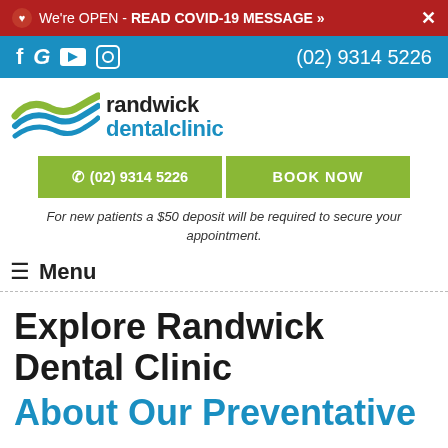❤ We're OPEN - READ COVID-19 MESSAGE » ×
f G ▶ 🔲  (02) 9314 5226
[Figure (logo): Randwick Dental Clinic logo with green and blue wave graphic and text 'randwick dentalclinic']
📞 (02) 9314 5226   BOOK NOW
For new patients a $50 deposit will be required to secure your appointment.
≡ Menu
Explore Randwick Dental Clinic
About Our Preventative